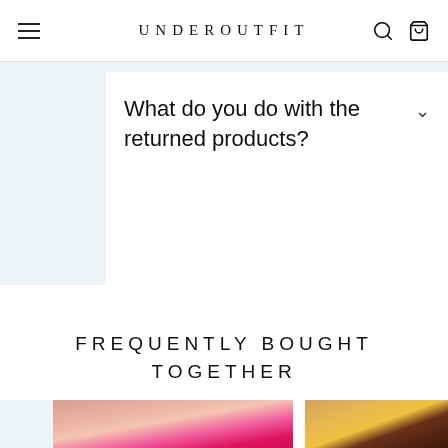UNDEROUTFIT
What do you do with the returned products?
FREQUENTLY BOUGHT TOGETHER
[Figure (photo): Two product photos side by side: left shows a model wearing a pink/magenta bralette crop top against a warm beige background; right shows a partial view of a model wearing a yellow/golden top with dark brown bottoms.]